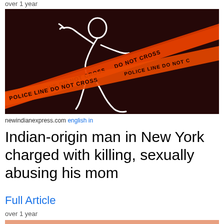over 1 year
[Figure (photo): Crime scene chalk outline of a running figure on dark floor with orange police line do not cross tape crossing diagonally]
newindianexpress.com english in
Indian-origin man in New York charged with killing, sexually abusing his mom
Full Article
over 1 year